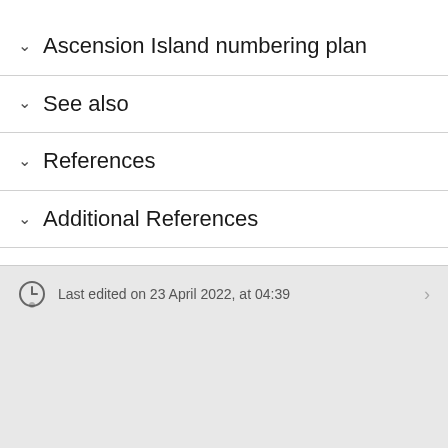Ascension Island numbering plan
See also
References
Additional References
Last edited on 23 April 2022, at 04:39